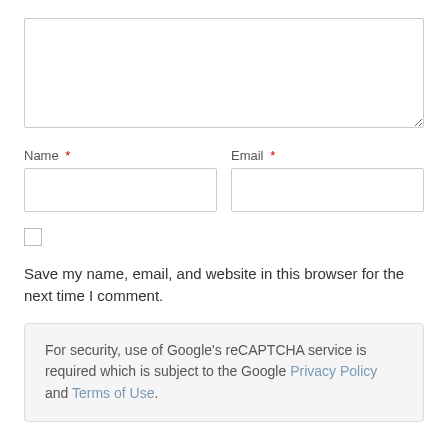[Figure (other): A large empty textarea input box for comment entry]
Name *
Email *
[Figure (other): Name text input field box]
[Figure (other): Email text input field box]
[Figure (other): Checkbox (unchecked) for save name/email/website]
Save my name, email, and website in this browser for the next time I comment.
For security, use of Google's reCAPTCHA service is required which is subject to the Google Privacy Policy and Terms of Use.